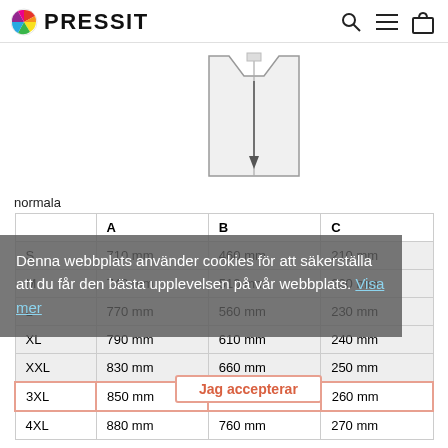PRESSIT
[Figure (illustration): Line drawing of a garment (apron/vest shape) showing measurement arrow pointing downward in the center]
normala
|  | A | B | C |
| --- | --- | --- | --- |
| S | 710 mm | 460 mm | 210 mm |
| M | 740 mm | 510 mm | 220 mm |
| L | 770 mm | 560 mm | 230 mm |
| XL | 790 mm | 610 mm | 240 mm |
| XXL | 830 mm | 660 mm | 250 mm |
| 3XL | 850 mm | 710 mm | 260 mm |
| 4XL | 880 mm | 760 mm | 270 mm |
Denna webbplats använder cookies för att säkerställa att du får den bästa upplevelsen på vår webbplats. Visa mer
Jag accepterar